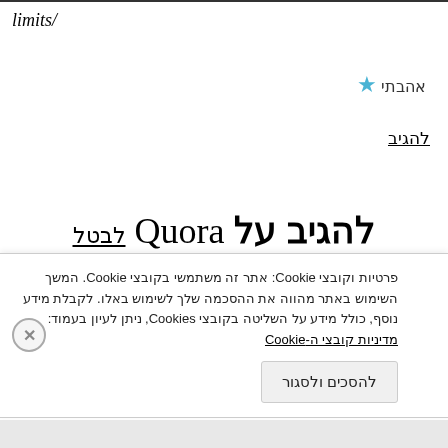/limits
★ אהבתי
להגיב
להגיב על Quora לבטל
האימייל לא יוצג באתר. שדות החובה מסומנים *
החנורה שלר *
פרטיות וקובצי Cookie: אתר זה משתמשי בקובצי Cookie. המשך השימוש באתר מהווה את ההסכמה שלך לשימוש באלו. לקבלת מידע נוסף, כולל מידע על השליטה בקובצי Cookies, ניתן לעיון בעמוד: מדיניות קובצי ה-Cookie